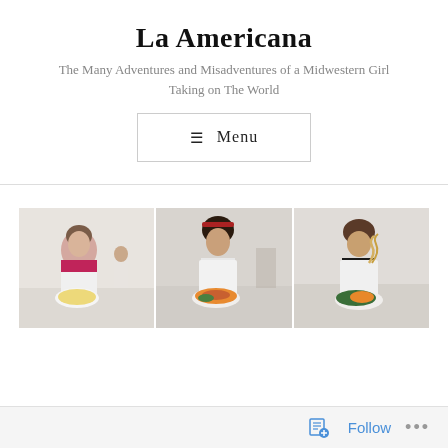La Americana
The Many Adventures and Misadventures of a Midwestern Girl Taking on The World
☰ Menu
[Figure (photo): Three photos side by side of women in white aprons holding plates of food, likely at a cooking class. Left: woman in pink top with pasta dish. Center: woman in white top with pasta dish. Right: woman in black top with pasta being lifted.]
Follow ...